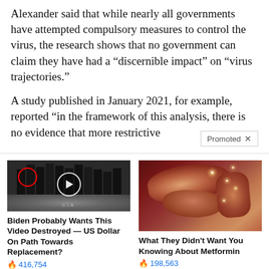Alexander said that while nearly all governments have attempted compulsory measures to control the virus, the research shows that no government can claim they have had a “discernible impact” on “virus trajectories.”
A study published in January 2021, for example, reported “in the framework of this analysis, there is no evidence that more restrictive
[Figure (photo): Advertisement image showing a group of men in suits standing in front of a CIA logo floor, with a red circle highlighting one figure and a video play button overlay]
Biden Probably Wants This Video Destroyed — US Dollar On Path Towards Replacement?
🔥 416,754
[Figure (photo): Advertisement image showing anatomical illustration of internal organs (pancreas/digestive system) with glowing highlights]
What They Didn't Want You Knowing About Metformin
🔥 198,563